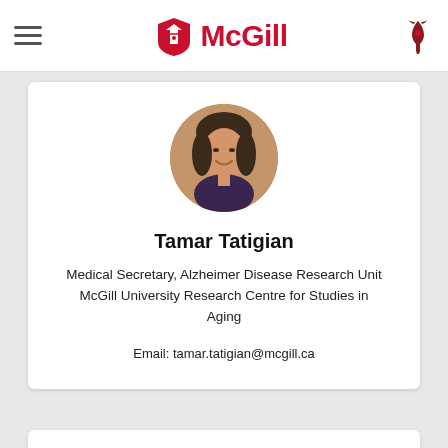McGill
[Figure (photo): Circular profile photo of Tamar Tatigian, a woman with dark hair, smiling, wearing a dark patterned top.]
Tamar Tatigian
Medical Secretary, Alzheimer Disease Research Unit McGill University Research Centre for Studies in Aging
Email: tamar.tatigian@mcgill.ca